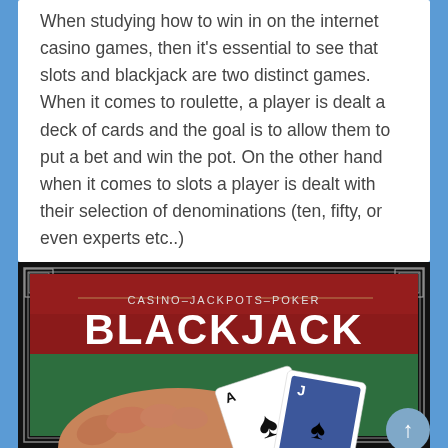When studying how to win in on the internet casino games, then it's essential to see that slots and blackjack are two distinct games. When it comes to roulette, a player is dealt a deck of cards and the goal is to allow them to put a bet and win the pot. On the other hand when it comes to slots a player is dealt with their selection of denominations (ten, fifty, or even experts etc..)
[Figure (illustration): Blackjack casino game image showing a hand holding playing cards (Ace of Spades and Jack) on a green felt table, with a red banner at the top reading 'CASINO-JACKPOTS-POKER BLACKJACK' in white text, framed with a decorative black and gold border.]